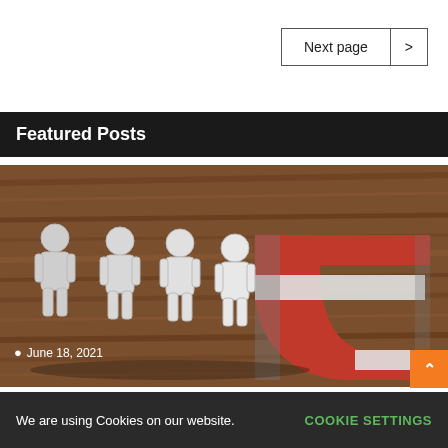Next page >
Featured Posts
[Figure (photo): Paper cutout figures of people being attracted by a horseshoe magnet on a wooden surface, symbolizing customer attraction or teamwork]
June 18, 2021
We are using Cookies on our website.
COOKIE SETTINGS